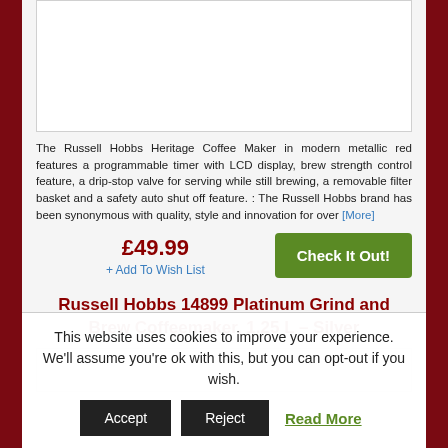[Figure (photo): Product image placeholder box for Russell Hobbs Heritage Coffee Maker]
The Russell Hobbs Heritage Coffee Maker in modern metallic red features a programmable timer with LCD display, brew strength control feature, a drip-stop valve for serving while still brewing, a removable filter basket and a safety auto shut off feature. : The Russell Hobbs brand has been synonymous with quality, style and innovation for over [More]
£49.99
+ Add To Wish List
Check It Out!
Russell Hobbs 14899 Platinum Grind and Brew Coffeemaker, 1.25 L – Silver
[Figure (photo): Product image placeholder box for Russell Hobbs 14899 Platinum Grind and Brew Coffeemaker]
This website uses cookies to improve your experience. We'll assume you're ok with this, but you can opt-out if you wish.
Accept  Reject  Read More